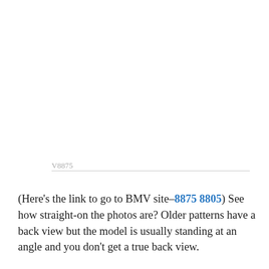V8875
(Here's the link to go to BMV site–8875 8805) See how straight-on the photos are? Older patterns have a back view but the model is usually standing at an angle and you don't get a true back view.